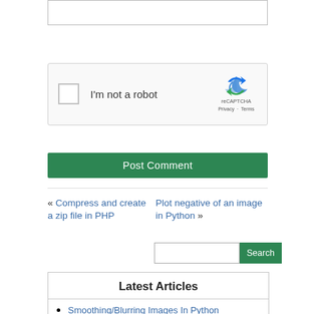[Figure (screenshot): Partial text input field, cropped at top of page]
[Figure (screenshot): reCAPTCHA widget with checkbox labeled 'I'm not a robot' and reCAPTCHA logo with Privacy and Terms links]
Post Comment
« Compress and create a zip file in PHP
Plot negative of an image in Python »
[Figure (screenshot): Search input field with Search button]
Latest Articles
Smoothing/Blurring Images In Python